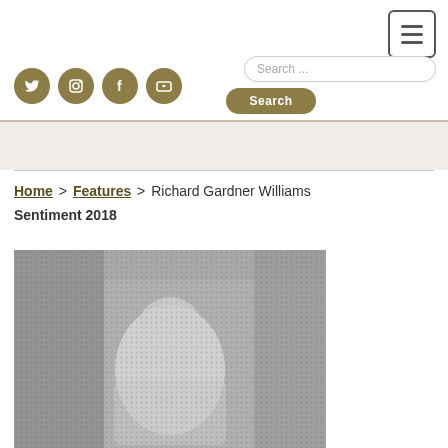[Figure (screenshot): Website header with hamburger menu button (three horizontal lines in a rounded rectangle) in the top right corner]
[Figure (screenshot): Four social media icon circles (Twitter, Instagram, Facebook, YouTube) in olive/tan color]
[Figure (screenshot): Search input field with placeholder 'Search ...' and a Search button below it]
Home > Features > Richard Gardner Williams Sentiment 2018
[Figure (photo): Grayscale halftone photograph, partially visible, appearing to show a portrait]